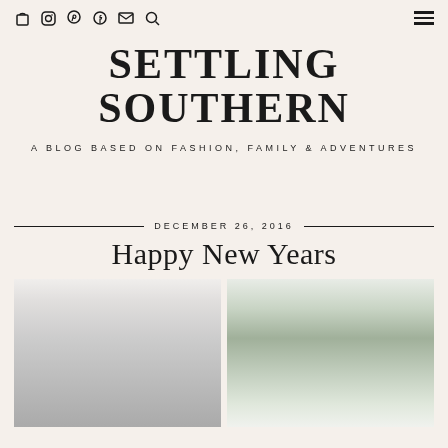Settling Southern — A Blog Based on Fashion, Family & Adventures
SETTLING SOUTHERN
A BLOG BASED ON FASHION, FAMILY & ADVENTURES
DECEMBER 26, 2016
Happy New Years
[Figure (photo): Two side-by-side blurred lifestyle photos: left shows a light airy interior scene, right shows a bright outdoor/indoor space with greenery and an arched window]